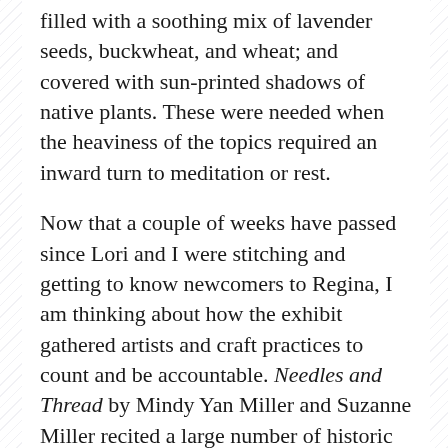filled with a soothing mix of lavender seeds, buckwheat, and wheat; and covered with sun-printed shadows of native plants. These were needed when the heaviness of the topics required an inward turn to meditation or rest.
Now that a couple of weeks have passed since Lori and I were stitching and getting to know newcomers to Regina, I am thinking about how the exhibit gathered artists and craft practices to count and be accountable. Needles and Thread by Mindy Yan Miller and Suzanne Miller recited a large number of historic names and processed a large volume of used clothes to mark a much greater number of lost lives—forever grievable. Another project of Mindy Yan Miller, Six Million Stitches, also memorialized people lost in the Holocaust with counted stitches that the artist made with human hair onto blanket fragments and